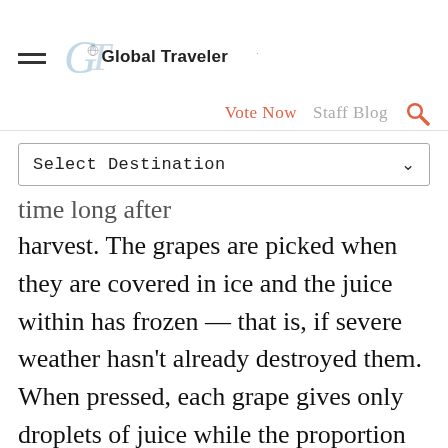Global Traveler
Vote Now  Staff Blog
Select Destination
time long after harvest. The grapes are picked when they are covered in ice and the juice within has frozen — that is, if severe weather hasn't already destroyed them. When pressed, each grape gives only droplets of juice while the proportion of